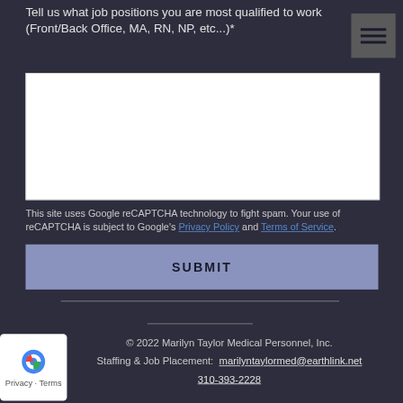Tell us what job positions you are most qualified to work (Front/Back Office, MA, RN, NP, etc...)*
This site uses Google reCAPTCHA technology to fight spam. Your use of reCAPTCHA is subject to Google's Privacy Policy and Terms of Service.
SUBMIT
© 2022 Marilyn Taylor Medical Personnel, Inc.
Staffing & Job Placement: marilyntaylormed@earthlink.net
310-393-2228